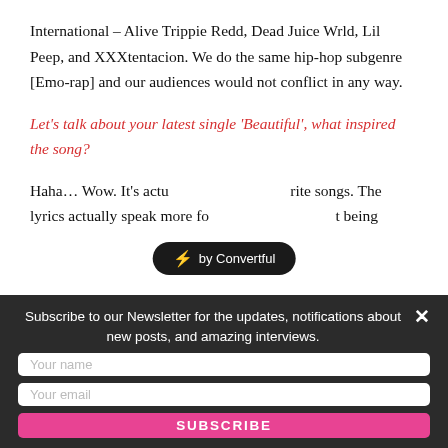International – Alive Trippie Redd, Dead Juice Wrld, Lil Peep, and XXXtentacion. We do the same hip-hop subgenre [Emo-rap] and our audiences would not conflict in any way.
Let's talk about your latest single 'Beautiful', what inspired the song?
Haha… Wow. It's actually one of my favorite songs. The lyrics actually speak more for itself. It's just about being
[Figure (other): Convertful badge/tooltip with lightning bolt emoji and text 'by Convertful' on dark rounded pill background]
Subscribe to our Newsletter for the updates, notifications about new posts, and amazing interviews.
Your name
Your email
SUBSCRIBE